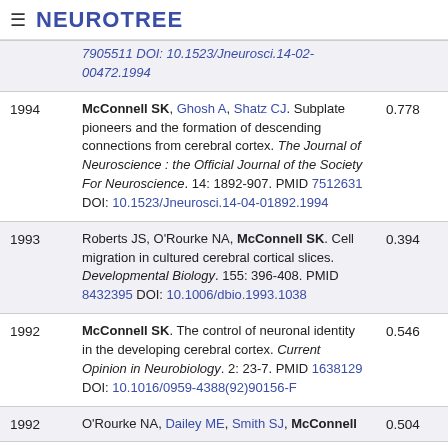≡ NEUROTREE
| Year | Reference | Score |
| --- | --- | --- |
|  | 7905511 DOI: 10.1523/Jneurosci.14-02-00472.1994 |  |
| 1994 | McConnell SK, Ghosh A, Shatz CJ. Subplate pioneers and the formation of descending connections from cerebral cortex. The Journal of Neuroscience : the Official Journal of the Society For Neuroscience. 14: 1892-907. PMID 7512631 DOI: 10.1523/Jneurosci.14-04-01892.1994 | 0.778 |
| 1993 | Roberts JS, O'Rourke NA, McConnell SK. Cell migration in cultured cerebral cortical slices. Developmental Biology. 155: 396-408. PMID 8432395 DOI: 10.1006/dbio.1993.1038 | 0.394 |
| 1992 | McConnell SK. The control of neuronal identity in the developing cerebral cortex. Current Opinion in Neurobiology. 2: 23-7. PMID 1638129 DOI: 10.1016/0959-4388(92)90156-F | 0.546 |
| 1992 | O'Rourke NA, Dailey ME, Smith SJ, McConnell | 0.504 |